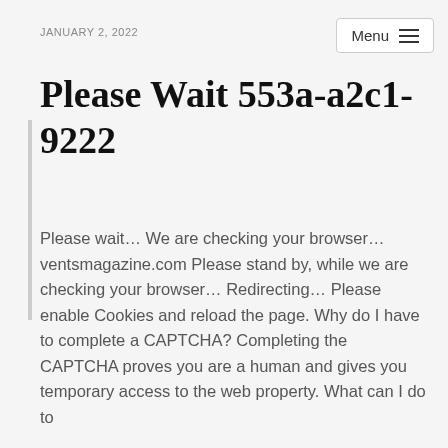JANUARY 2, 2022
Please Wait 553a-a2c1-9222
Please wait… We are checking your browser… ventsmagazine.com Please stand by, while we are checking your browser… Redirecting… Please enable Cookies and reload the page. Why do I have to complete a CAPTCHA? Completing the CAPTCHA proves you are a human and gives you temporary access to the web property. What can I do to